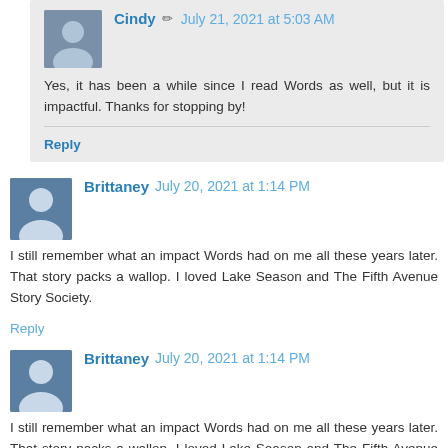Cindy — July 21, 2021 at 5:03 AM
Yes, it has been a while since I read Words as well, but it is impactful. Thanks for stopping by!
Reply
Brittaney — July 20, 2021 at 1:14 PM
I still remember what an impact Words had on me all these years later. That story packs a wallop. I loved Lake Season and The Fifth Avenue Story Society.
Reply
Brittaney — July 20, 2021 at 1:14 PM
I still remember what an impact Words had on me all these years later. That story packs a wallop. I loved Lake Season and The Fifth Avenue Story Society.
Reply